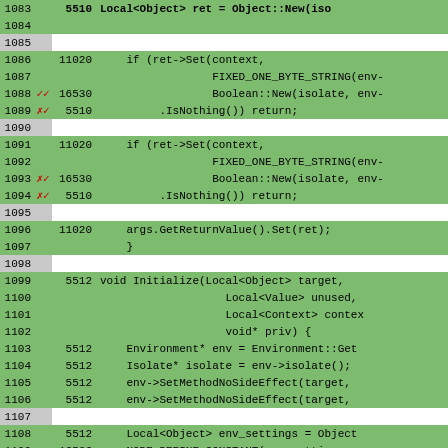[Figure (screenshot): Code coverage view showing C++ source lines with line numbers, annotation marks (checkmarks/x marks), execution counts, and code content. Lines 1083-1109 are visible. Green background indicates covered lines, white/grey indicates uncovered. Code includes Object::New, ret->Set, Boolean::New, IsNothing, args.GetReturnValue, Initialize function, Environment::Get, isolate(), SetMethodNoSideEffect, and NODE_DEFINE_CONSTANT calls.]